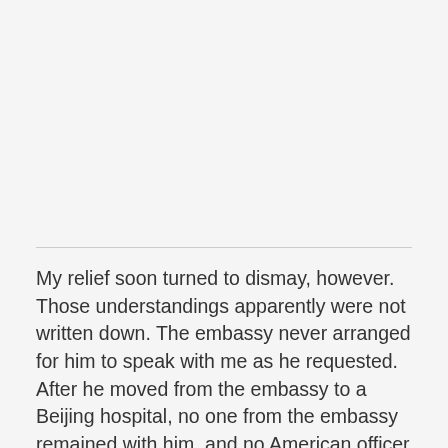My relief soon turned to dismay, however. Those understandings apparently were not written down. The embassy never arranged for him to speak with me as he requested. After he moved from the embassy to a Beijing hospital, no one from the embassy remained with him, and no American officer was able to